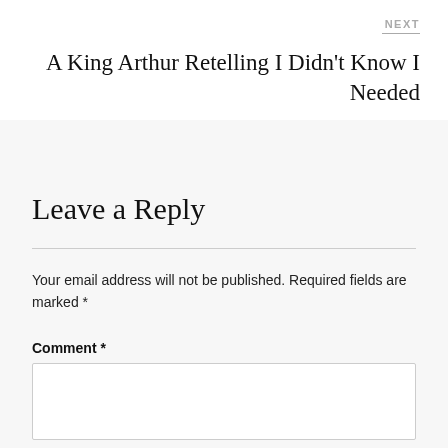NEXT
A King Arthur Retelling I Didn't Know I Needed
Leave a Reply
Your email address will not be published. Required fields are marked *
Comment *